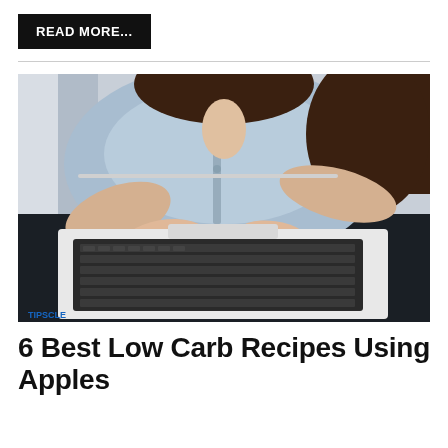READ MORE...
[Figure (photo): Overhead view of a woman in a denim shirt typing on a laptop computer, seated with legs crossed, dark background]
6 Best Low Carb Recipes Using Apples